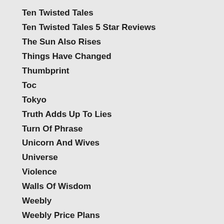Ten Twisted Tales
Ten Twisted Tales 5 Star Reviews
The Sun Also Rises
Things Have Changed
Thumbprint
Toc
Tokyo
Truth Adds Up To Lies
Turn Of Phrase
Unicorn And Wives
Universe
Violence
Walls Of Wisdom
Weebly
Weebly Price Plans
Weebly Site
Weebly Vs Edicy
Weebly Vs Jimdo
Weebly Vs Squarespace